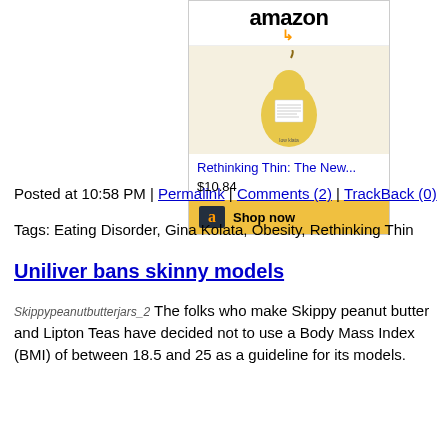[Figure (screenshot): Amazon widget showing book 'Rethinking Thin: The New...' priced at $10.84 with a Shop now button, featuring a pear-shaped book cover image and Amazon logo]
Posted at 10:58 PM | Permalink | Comments (2) | TrackBack (0)
Tags: Eating Disorder, Gina Kolata, Obesity, Rethinking Thin
Uniliver bans skinny models
Skippypeanutbutterjars_2 The folks who make Skippy peanut butter and Lipton Teas have decided not to use a Body Mass Index (BMI) of between 18.5 and 25 as a guideline for its models.